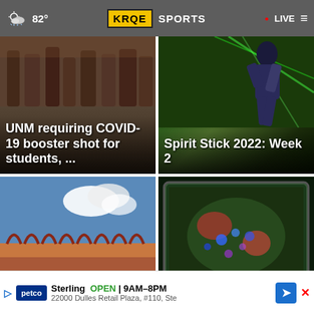82° KRQE SPORTS LIVE
[Figure (screenshot): News card: UNM requiring COVID-19 booster shot for students, ... with crowd background photo]
[Figure (screenshot): News card: Spirit Stick 2022: Week 2 with cheerleader photo]
[Figure (screenshot): News card: $3M in education fun... acr... Mexico... with building photo]
[Figure (screenshot): News card with esports/gaming screen photo and X close button]
Sterling OPEN | 9AM-8PM 22000 Dulles Retail Plaza, #110, Ste